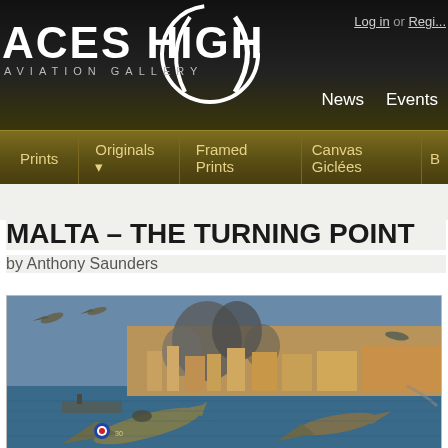Aces High Aviation Gallery — Log in or Register
[Figure (logo): Aces High Aviation Gallery logo with circular swoosh design in white on dark background]
News   Events
Prints | Originals ▼ | Framed Prints | Canvas Giclées | B...
MALTA – THE TURNING POINT
by Anthony Saunders
[Figure (illustration): Aviation painting showing WWII Spitfires in aerial combat over Malta harbour with smoke and explosions in background]